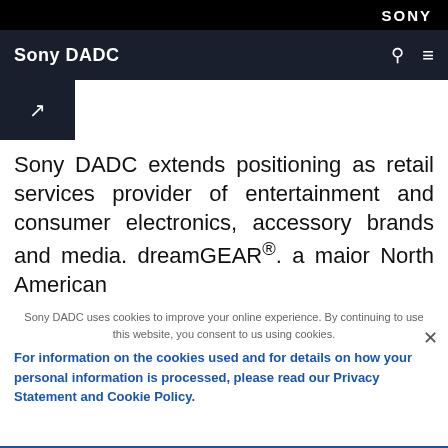SONY
Sony DADC
[Figure (other): Thumbnail image placeholder with arrow icon, dark navy background]
Sony DADC extends positioning as retail services provider of entertainment and consumer electronics, accessory brands and media. dreamGEAR®. a maior North American
Sony DADC uses cookies to improve your online experience. By continuing to use this website, you consent to us using cookies.
For information on the cookies used and for details on how your personal information is processed, please read our Privacy Statement and Cookie Policy.